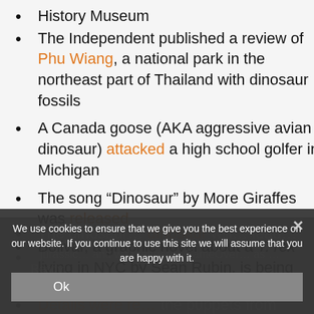History Museum
The Independent published a review of Phu Wiang, a national park in the northeast part of Thailand with dinosaur fossils
A Canada goose (AKA aggressive avian dinosaur) attacked a high school golfer in Michigan
The song “Dinosaur” by More Giraffes was released
Bolivar, a graphic novel about a T. rex living in NYC by Sean Rubin, is being turned into a movie
The dinosaur... will lead... jurassic world with ranger... and ready player one when it is released
Details were re... the puppets from Jurassic World... dom. Including that Blue took 15...
We use cookies to ensure that we give you the best experience on our website. If you continue to use this site we will assume that you are happy with it.